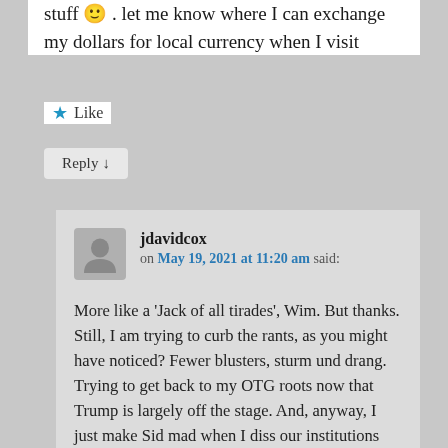stuff 🙂 . let me know where I can exchange my dollars for local currency when I visit
★ Like
Reply ↓
jdavidcox on May 19, 2021 at 11:20 am said:
More like a 'Jack of all tirades', Wim. But thanks. Still, I am trying to curb the rants, as you might have noticed? Fewer blusters, sturm und drang. Trying to get back to my OTG roots now that Trump is largely off the stage. And, anyway, I just make Sid mad when I diss our institutions and the system-at-large. Or disappoint Kev if I defend same. So, I gotta keep it civil, green, wild and a bit wimpy to